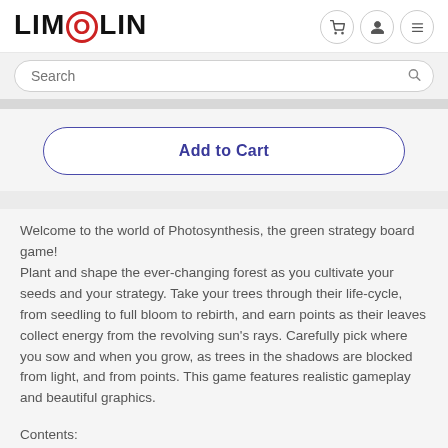LIMOLIN
Search
Add to Cart
Welcome to the world of Photosynthesis, the green strategy board game!
Plant and shape the ever-changing forest as you cultivate your seeds and your strategy. Take your trees through their life-cycle, from seedling to full bloom to rebirth, and earn points as their leaves collect energy from the revolving sun's rays. Carefully pick where you sow and when you grow, as trees in the shadows are blocked from light, and from points. This game features realistic gameplay and beautiful graphics.
Contents:
1 Game Board